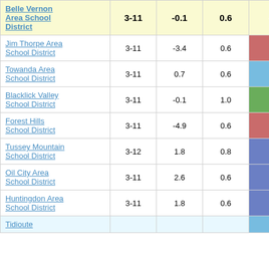| District | Grades | Col3 | Col4 | Score |
| --- | --- | --- | --- | --- |
| Belle Vernon Area School District | 3-11 | -0.1 | 0.6 | -0.10 |
| Jim Thorpe Area School District | 3-11 | -3.4 | 0.6 | -5.71 |
| Towanda Area School District | 3-11 | 0.7 | 0.6 | 1.26 |
| Blacklick Valley School District | 3-11 | -0.1 | 1.0 | -0.10 |
| Forest Hills School District | 3-11 | -4.9 | 0.6 | -8.77 |
| Tussey Mountain School District | 3-12 | 1.8 | 0.8 | 2.29 |
| Oil City Area School District | 3-11 | 2.6 | 0.6 | 4.69 |
| Huntingdon Area School District | 3-11 | 1.8 | 0.6 | 3.16 |
| Tidioute |  |  |  |  |